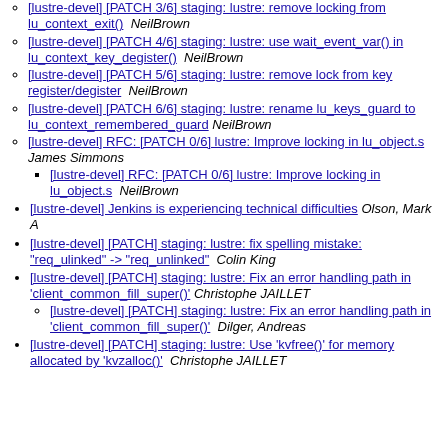[lustre-devel] [PATCH 3/6] staging: lustre: remove locking from lu_context_exit()  NeilBrown
[lustre-devel] [PATCH 4/6] staging: lustre: use wait_event_var() in lu_context_key_degister()  NeilBrown
[lustre-devel] [PATCH 5/6] staging: lustre: remove lock from key register/degister  NeilBrown
[lustre-devel] [PATCH 6/6] staging: lustre: rename lu_keys_guard to lu_context_remembered_guard  NeilBrown
[lustre-devel] RFC: [PATCH 0/6] lustre: Improve locking in lu_object.s  James Simmons
[lustre-devel] RFC: [PATCH 0/6] lustre: Improve locking in lu_object.s  NeilBrown
[lustre-devel] Jenkins is experiencing technical difficulties  Olson, Mark A
[lustre-devel] [PATCH] staging: lustre: fix spelling mistake: "req_ulinked" -> "req_unlinked"  Colin King
[lustre-devel] [PATCH] staging: lustre: Fix an error handling path in 'client_common_fill_super()'  Christophe JAILLET
[lustre-devel] [PATCH] staging: lustre: Fix an error handling path in 'client_common_fill_super()'  Dilger, Andreas
[lustre-devel] [PATCH] staging: lustre: Use 'kvfree()' for memory allocated by 'kvzalloc()'  Christophe JAILLET